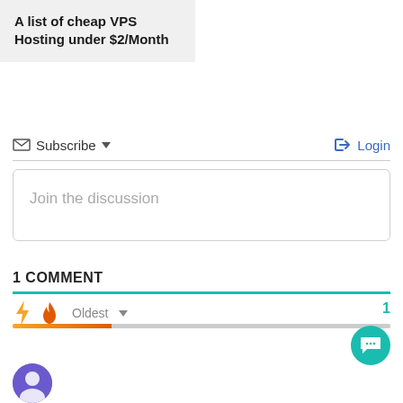A list of cheap VPS Hosting under $2/Month
Subscribe  Login
Join the discussion
1 COMMENT
Oldest  1